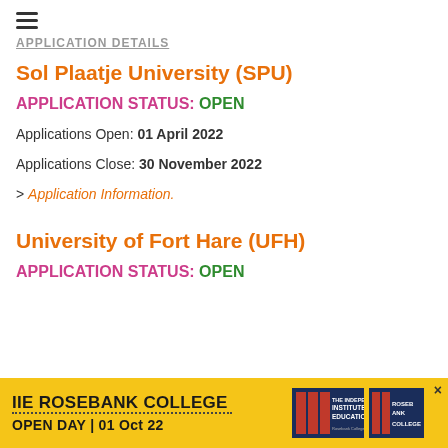APPLICATION DETAILS
Sol Plaatje University (SPU)
APPLICATION STATUS: OPEN
Applications Open: 01 April 2022
Applications Close: 30 November 2022
> Application Information.
University of Fort Hare (UFH)
APPLICATION STATUS: OPEN
[Figure (infographic): IIE Rosebank College Open Day advertisement banner with yellow background. Text reads: IIE ROSEBANK COLLEGE, OPEN DAY | 01 Oct 22, with logos for The Independent Institute of Education and Rosebank College.]